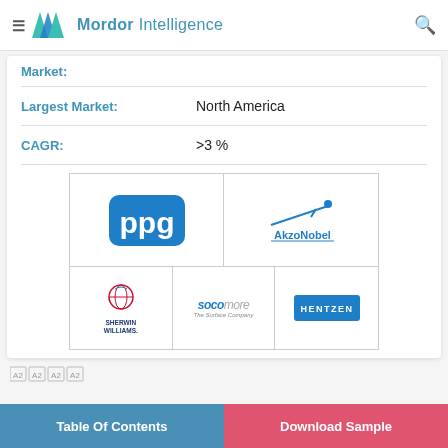Mordor Intelligence
Market:
| Field | Value |
| --- | --- |
| Largest Market: | North America |
| CAGR: | >3 % |
[Figure (logo): Grid of company logos: PPG, AkzoNobel, Sherwin Williams, Socomore (The Surface Company), Hentzen]
[Figure (other): Small A2 A2 A2 A2 watermark icons]
Table Of Contents
Download Sample